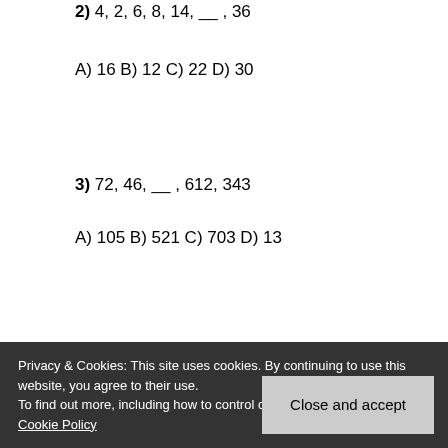2) 4, 2, 6, 8, 14, __ , 36
A) 16 B) 12 C) 22 D) 30
3) 72, 46, __ , 612, 343
A) 105 B) 521 C) 703 D) 13
Privacy & Cookies: This site uses cookies. By continuing to use this website, you agree to their use. To find out more, including how to control cookies, see here: Cookie Policy